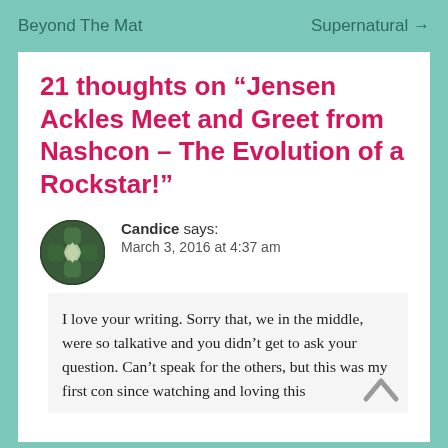Beyond The Mat   Supernatural →
21 thoughts on “Jensen Ackles Meet and Greet from Nashcon – The Evolution of a Rockstar!”
Candice says: March 3, 2016 at 4:37 am
I love your writing. Sorry that, we in the middle, were so talkative and you didn’t get to ask your question. Can’t speak for the others, but this was my first con since watching and loving this show from the beginning, and...